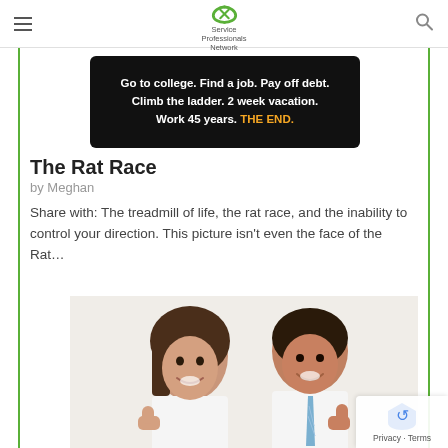Service Professionals Network
[Figure (screenshot): Dark banner image with white bold text: 'Go to college. Find a job. Pay off debt. Climb the ladder. 2 week vacation. Work 45 years. THE END.' where 'THE END.' is in yellow/orange text on black background.]
The Rat Race
by Meghan
Share with: The treadmill of life, the rat race, and the inability to control your direction. This picture isn't even the face of the Rat…
[Figure (photo): Two smiling Asian professionals, a woman and a man, giving thumbs up gesture. Man is wearing a blue striped tie.]